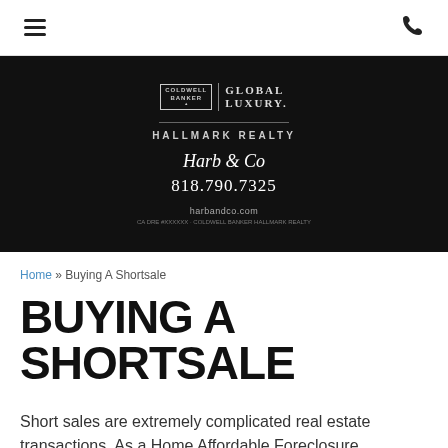≡  ☎
[Figure (logo): Coldwell Banker Global Luxury | Hallmark Realty — Harb & Co logo on black background with phone number 818.790.7325 and website harbandco.com]
Home » Buying A Shortsale
BUYING A SHORTSALE
Short sales are extremely complicated real estate transactions. As a Home Affordable Foreclosure